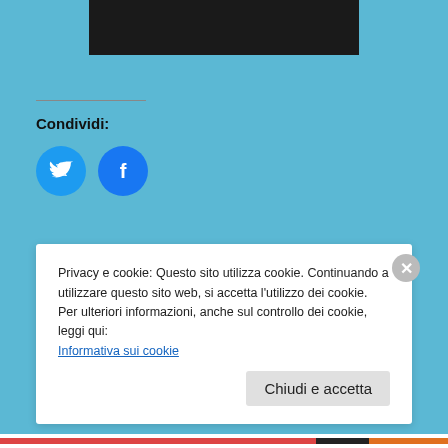[Figure (screenshot): Black video player bar at top center]
Condividi:
[Figure (infographic): Twitter and Facebook blue circular share icons]
[Figure (infographic): Mi piace / Like widget with star icon and two blogger avatars]
Questo piace a 2 blogger.
Correlati
Privacy e cookie: Questo sito utilizza cookie. Continuando a utilizzare questo sito web, si accetta l'utilizzo dei cookie.
Per ulteriori informazioni, anche sul controllo dei cookie, leggi qui:
Informativa sui cookie
Chiudi e accetta